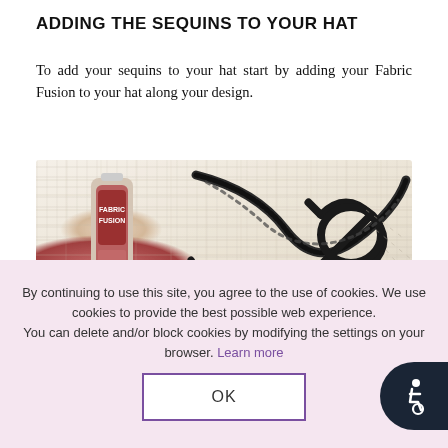ADDING THE SEQUINS TO YOUR HAT
To add your sequins to your hat start by adding your Fabric Fusion to your hat along your design.
[Figure (photo): Photo of a white woven hat with a black decorative rope/ribbon design, and a bottle of Fabric Fusion glue placed on the hat.]
By continuing to use this site, you agree to the use of cookies. We use cookies to provide the best possible web experience. You can delete and/or block cookies by modifying the settings on your browser. Learn more
OK